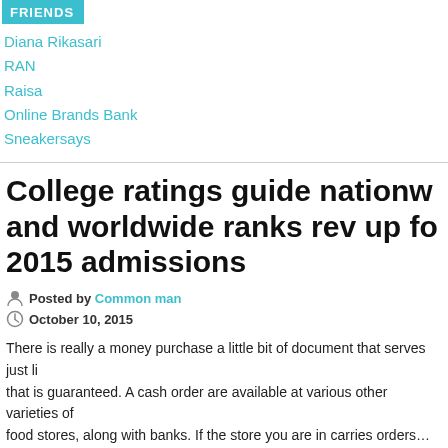FRIENDS
Diana Rikasari
RAN
Raisa
Online Brands Bank
Sneakersays
College ratings guide nationwide and worldwide ranks rev up for 2015 admissions
Posted by Common man
October 10, 2015
There is really a money purchase a little bit of document that serves just like that is guaranteed. A cash order are available at various other varieties of food stores, along with banks. If the store you are in carries orders…